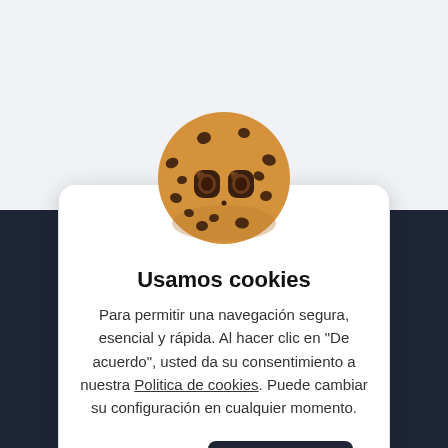[Figure (illustration): A cartoon cookie character with chocolate chips and two large googly eyes, looking cute and slightly droopy-eyed.]
Usamos cookies
Para permitir una navegación segura, esencial y rápida. Al hacer clic en "De acuerdo", usted da su consentimiento a nuestra Politica de cookies. Puede cambiar su configuración en cualquier momento.
Rechazar
De acuerdo!